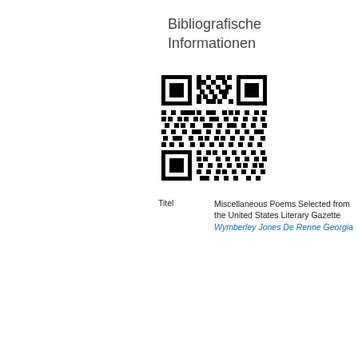Bibliografische Informationen
[Figure (other): QR code for bibliographic information about Miscellaneous Poems Selected from the United States Literary Gazette by Wymberley Jones De Renne Georgia]
| Field | Value |
| --- | --- |
| Titel | Miscellaneous Poems Selected from the United States Literary Gazette Wymberley Jones De Renne Georgia |